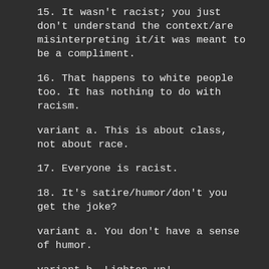15. It wasn't racist; you just don't understand the context/are misinterpreting it/it was meant to be a compliment.
16. That happens to white people too.  It has nothing to do with racism.
variant a.  This is about class, not about race.
17. Everyone is racist.
18. It's satire/humor/don't you get the joke?
variant a. You don't have a sense of humor.
variant b. Lighten up!
variant c. You don't understand the context.
19.  The Dictionary Defense™, otherwise known as The Last Bastion of Idiots™.